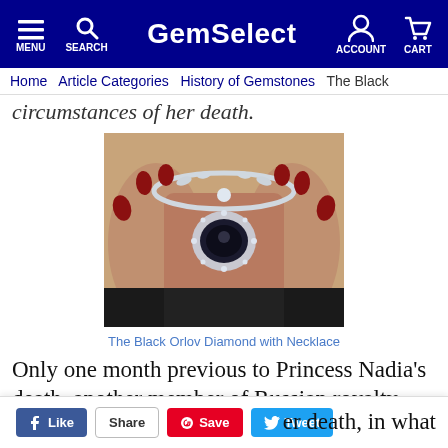GemSelect — MENU | SEARCH | ACCOUNT | CART
Home / Article Categories / History of Gemstones / The Black ...
circumstances of her death.
[Figure (photo): A person wearing a black diamond necklace known as the Black Orlov Diamond, with hands crossed over chest, red painted nails visible.]
The Black Orlov Diamond with Necklace
Only one month previous to Princess Nadia's death, another member of Russian royalty, Princess Leonila Viktorovna- ... er death, in what ...